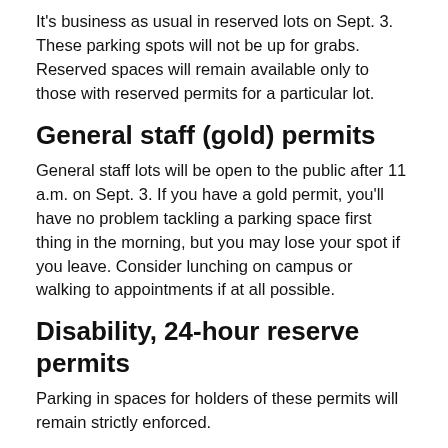It's business as usual in reserved lots on Sept. 3. These parking spots will not be up for grabs. Reserved spaces will remain available only to those with reserved permits for a particular lot.
General staff (gold) permits
General staff lots will be open to the public after 11 a.m. on Sept. 3. If you have a gold permit, you'll have no problem tackling a parking space first thing in the morning, but you may lose your spot if you leave. Consider lunching on campus or walking to appointments if at all possible.
Disability, 24-hour reserve permits
Parking in spaces for holders of these permits will remain strictly enforced.
At day's end
Get in the game and cheer on the Cyclones! But if you're